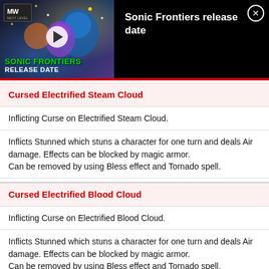[Figure (screenshot): Video ad banner for 'Sonic Frontiers release date' with thumbnail showing game art, play button, MW Next Level logo, and close button]
Cursed Electrified Steam Cloud
Inflicting Curse on Electrified Steam Cloud.
Inflicts Stunned which stuns a character for one turn and deals Air damage. Effects can be blocked by magic armor. Can be removed by using Bless effect and Tornado spell.
Cursed Electrified Blood Cloud
Inflicting Curse on Electrified Blood Cloud.
Inflicts Stunned which stuns a character for one turn and deals Air damage. Effects can be blocked by magic armor. Can be removed by using Bless effect and Tornado spell.